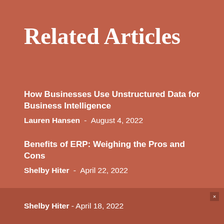Related Articles
How Businesses Use Unstructured Data for Business Intelligence — Lauren Hansen - August 4, 2022
Benefits of ERP: Weighing the Pros and Cons — Shelby Hiter - April 22, 2022
How to Choose the Right ERP System — Shelby Hiter - April 18, 2022